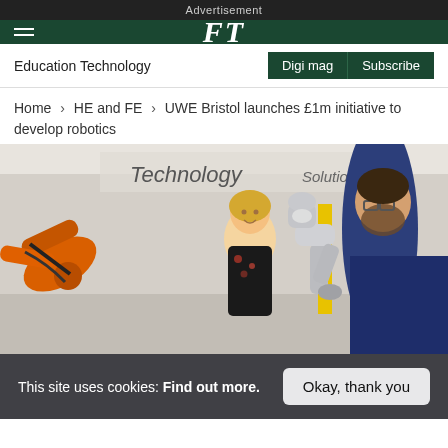Advertisement
FT
Education Technology
Home > HE and FE > UWE Bristol launches £1m initiative to develop robotics
[Figure (photo): Two people in a robotics laboratory with an orange industrial robotic arm and a white collaborative robot arm. A woman smiles while a bearded man examines the robot. A sign reads 'Technology Solutions' on the wall behind them.]
This site uses cookies: Find out more. Okay, thank you